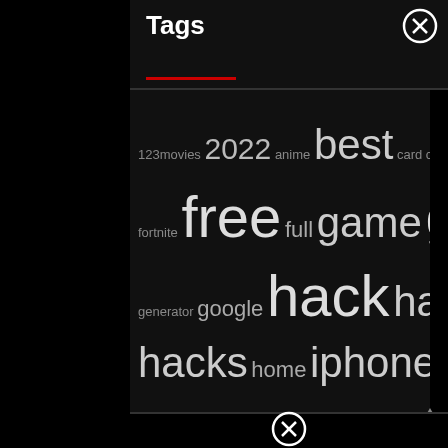Tags
[Figure (other): Tag cloud showing various website/search tags in different font sizes based on frequency: 123movies, 2022, anime, best, card, clicker, client, codes, covid, does, download, flash, fortnite, free, full, game, games, generator, google, hack, hacked, hacks, home, iphone, live, minecraft, mobile, movie, movies, number, online, papa, phone, pokemon, roblox, script, sites, start, stream, unblocked, watch, what, with, without, your]